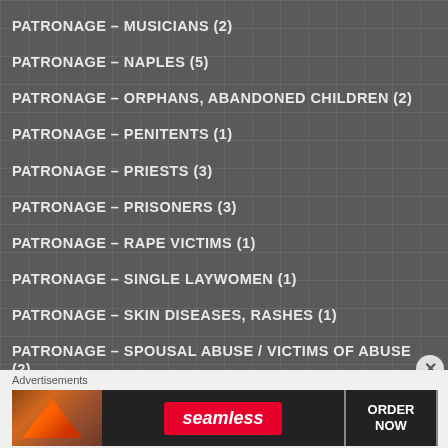PATRONAGE – MUSICIANS (2)
PATRONAGE – NAPLES (5)
PATRONAGE – ORPHANS, ABANDONED CHILDREN (2)
PATRONAGE – PENITENTS (1)
PATRONAGE – PRIESTS (3)
PATRONAGE – PRISONERS (3)
PATRONAGE – RAPE VICTIMS (1)
PATRONAGE – SINGLE LAYWOMEN (1)
PATRONAGE – SKIN DISEASES, RASHES (1)
PATRONAGE – SPOUSAL ABUSE / VICTIMS OF ABUSE (2)
Advertisements